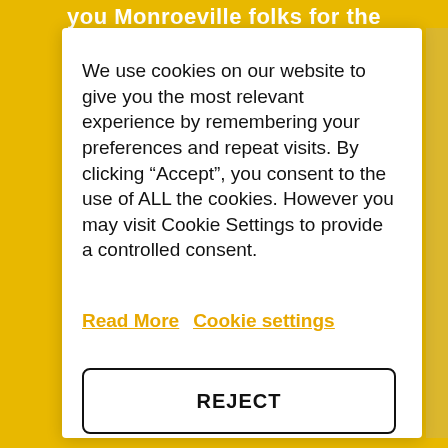you Monroeville folks for the
We use cookies on our website to give you the most relevant experience by remembering your preferences and repeat visits. By clicking “Accept”, you consent to the use of ALL the cookies. However you may visit Cookie Settings to provide a controlled consent.
Read More   Cookie settings
REJECT
ACCEPT